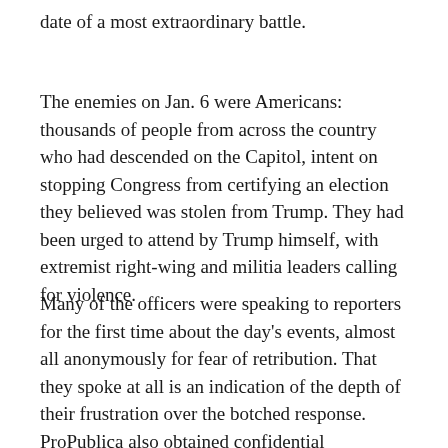date of a most extraordinary battle.
The enemies on Jan. 6 were Americans: thousands of people from across the country who had descended on the Capitol, intent on stopping Congress from certifying an election they believed was stolen from Trump. They had been urged to attend by Trump himself, with extremist right-wing and militia leaders calling for violence.
Many of the officers were speaking to reporters for the first time about the day's events, almost all anonymously for fear of retribution. That they spoke at all is an indication of the depth of their frustration over the botched response. ProPublica also obtained confidential intelligence bulletins